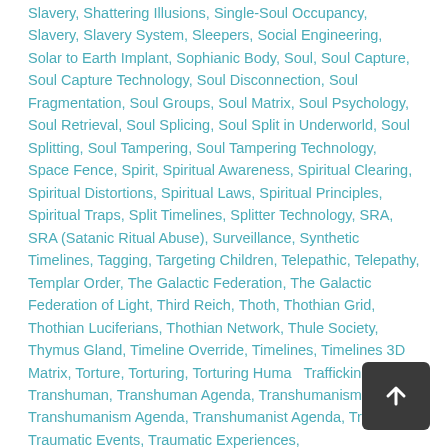Slavery, Shattering Illusions, Single-Soul Occupancy, Slavery, Slavery System, Sleepers, Social Engineering, Solar to Earth Implant, Sophianic Body, Soul, Soul Capture, Soul Capture Technology, Soul Disconnection, Soul Fragmentation, Soul Groups, Soul Matrix, Soul Psychology, Soul Retrieval, Soul Splicing, Soul Split in Underworld, Soul Splitting, Soul Tampering, Soul Tampering Technology, Space Fence, Spirit, Spiritual Awareness, Spiritual Clearing, Spiritual Distortions, Spiritual Laws, Spiritual Principles, Spiritual Traps, Split Timelines, Splitter Technology, SRA, SRA (Satanic Ritual Abuse), Surveillance, Synthetic Timelines, Tagging, Targeting Children, Telepathic, Telepathy, Templar Order, The Galactic Federation, The Galactic Federation of Light, Third Reich, Thoth, Thothian Grid, Thothian Luciferians, Thothian Network, Thule Society, Thymus Gland, Timeline Override, Timelines, Timelines 3D Matrix, Torture, Torturing, Torturing Human Trafficking, Transhuman, Transhuman Agenda, Transhumanism, Transhumanism Agenda, Transhumanist Agenda, Trauma, Traumatic Events, Traumatic Experiences,